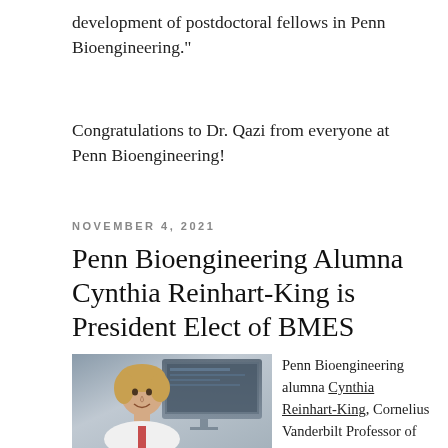development of postdoctoral fellows in Penn Bioengineering."
Congratulations to Dr. Qazi from everyone at Penn Bioengineering!
NOVEMBER 4, 2021
Penn Bioengineering Alumna Cynthia Reinhart-King is President Elect of BMES
[Figure (photo): Photo of Cynthia Reinhart-King, a woman with blonde hair wearing a white top with red accent, seated in front of a computer monitor in an office setting.]
Penn Bioengineering alumna Cynthia Reinhart-King, Cornelius Vanderbilt Professor of Engineering and Professor of Biomedical Engineering at